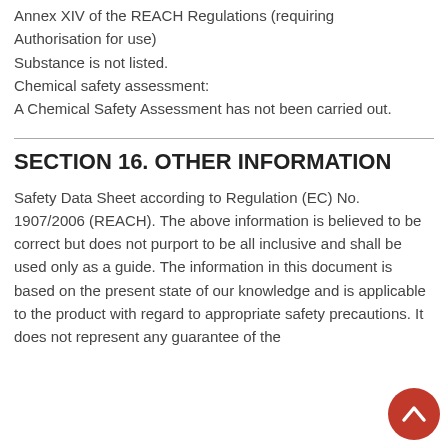Annex XIV of the REACH Regulations (requiring Authorisation for use)
Substance is not listed.
Chemical safety assessment:
A Chemical Safety Assessment has not been carried out.
SECTION 16. OTHER INFORMATION
Safety Data Sheet according to Regulation (EC) No. 1907/2006 (REACH). The above information is believed to be correct but does not purport to be all inclusive and shall be used only as a guide. The information in this document is based on the present state of our knowledge and is applicable to the product with regard to appropriate safety precautions. It does not represent any guarantee of the